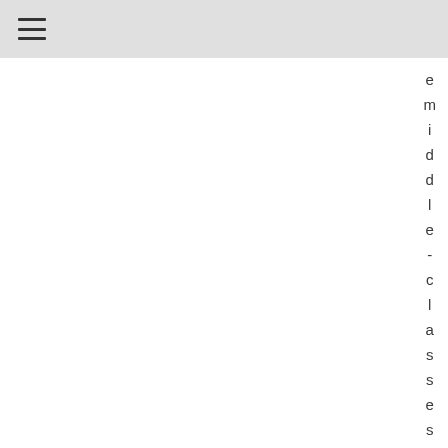≡
e m i d d l e - c l a s s e s u l i